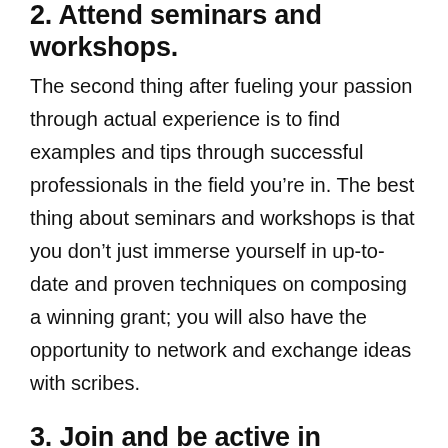2. Attend seminars and workshops.
The second thing after fueling your passion through actual experience is to find examples and tips through successful professionals in the field you’re in. The best thing about seminars and workshops is that you don’t just immerse yourself in up-to-date and proven techniques on composing a winning grant; you will also have the opportunity to network and exchange ideas with scribes.
3. Join and be active in established associations.
Being part of a solid community of grant writers is like leaning over a solid brick wall. It will reinforce your potential. Additionally, it will ensure your prospective clients that you aren’t some self-proclaimed scribe who is just doing it all for the love of money.